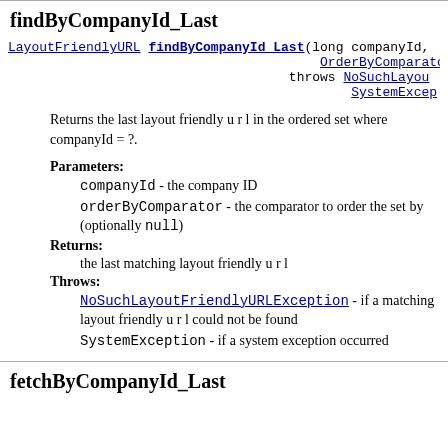findByCompanyId_Last
LayoutFriendlyURL findByCompanyId_Last(long companyId, OrderByComparator throws NoSuchLayoutFriendlyURLException, SystemException
Returns the last layout friendly u r l in the ordered set where companyId = ?.
Parameters:
companyId - the company ID
orderByComparator - the comparator to order the set by (optionally null)
Returns:
the last matching layout friendly u r l
Throws:
NoSuchLayoutFriendlyURLException - if a matching layout friendly u r l could not be found
SystemException - if a system exception occurred
fetchByCompanyId_Last